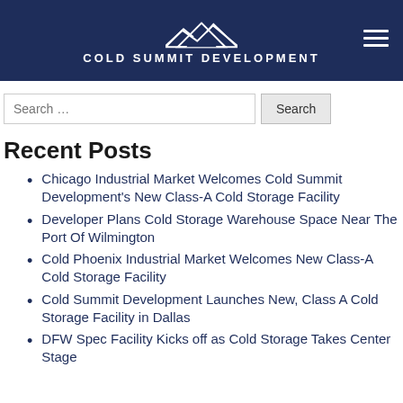Cold Summit Development
Recent Posts
Chicago Industrial Market Welcomes Cold Summit Development's New Class-A Cold Storage Facility
Developer Plans Cold Storage Warehouse Space Near The Port Of Wilmington
Cold Phoenix Industrial Market Welcomes New Class-A Cold Storage Facility
Cold Summit Development Launches New, Class A Cold Storage Facility in Dallas
DFW Spec Facility Kicks off as Cold Storage Takes Center Stage